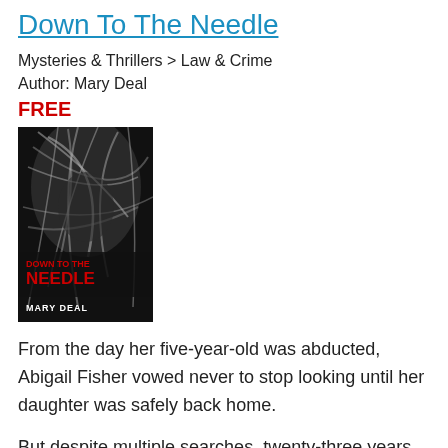Down To The Needle
Mysteries & Thrillers > Law & Crime
Author: Mary Deal
FREE
[Figure (photo): Book cover of 'Down To The Needle' by Mary Deal — black and white image of a person with wild windswept hair, with red block text reading 'DOWN TO THE NEEDLE' and white text 'MARY DEAL' at the bottom.]
From the day her five-year-old was abducted, Abigail Fisher vowed never to stop looking until her daughter was safely back home.
But despite multiple searches, twenty-three years have passed without a trace of Becky Ann. When Abigail